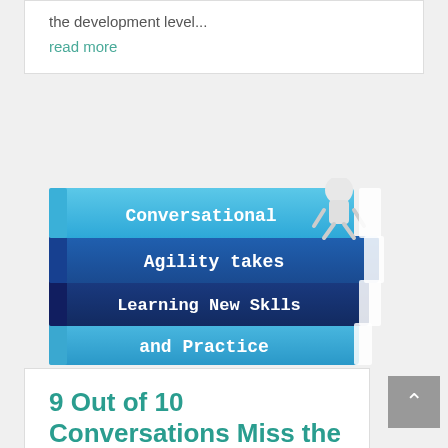the development level…
read more
[Figure (illustration): Stack of blue books with white text reading 'Conversational Agility takes Learning New Sklls and Practice', with a small 3D figure sitting on top of the books.]
9 Out of 10 Conversations Miss the Mark